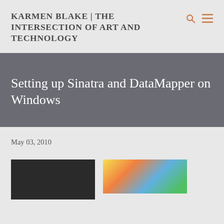KARMEN BLAKE | THE INTERSECTION OF ART AND TECHNOLOGY
Setting up Sinatra and DataMapper on Windows
May 03, 2010
[Figure (photo): Two thumbnail images partially visible at the bottom of the page: a dark image on the left and a colorful image on the right]